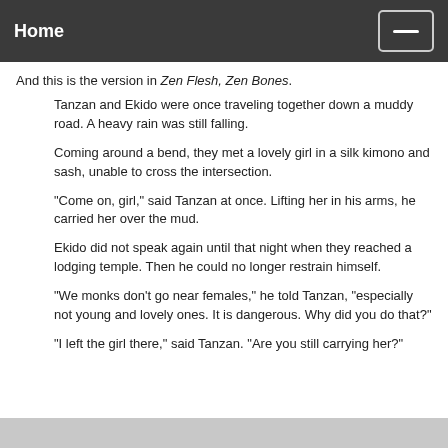Home
And this is the version in Zen Flesh, Zen Bones.
Tanzan and Ekido were once traveling together down a muddy road. A heavy rain was still falling.
Coming around a bend, they met a lovely girl in a silk kimono and sash, unable to cross the intersection.
"Come on, girl," said Tanzan at once. Lifting her in his arms, he carried her over the mud.
Ekido did not speak again until that night when they reached a lodging temple. Then he could no longer restrain himself.
"We monks don't go near females," he told Tanzan, "especially not young and lovely ones. It is dangerous. Why did you do that?"
"I left the girl there," said Tanzan. "Are you still carrying her?"